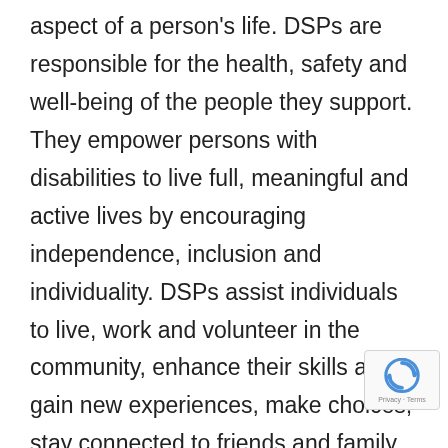aspect of a person's life. DSPs are responsible for the health, safety and well-being of the people they support. They empower persons with disabilities to live full, meaningful and active lives by encouraging independence, inclusion and individuality. DSPs assist individuals to live, work and volunteer in the community, enhance their skills and gain new experiences, make choices, stay connected to friends and family, have fun in the community, maintain jobs and do all of the everyday activities that make up a full life. To the people they support, DSPs are equal parts mentor, teacher, friend, facilitator, advocate, coach, champion and problem solver. Through their support DSPs make it possible for people to live the lives they want the
[Figure (other): reCAPTCHA badge with circular arrow icon and 'Privacy - Terms' text]